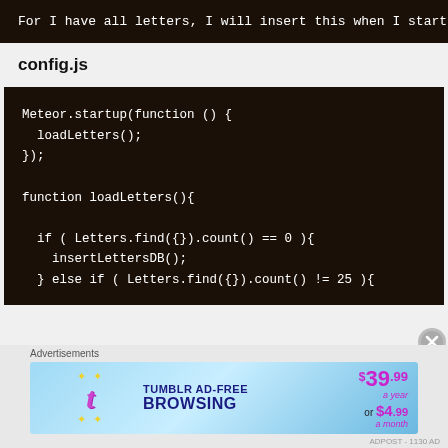[Figure (screenshot): Dark code block showing partial text: 'For I have all letters, I will insert this when I startup my ap']
config.js
[Figure (screenshot): Dark code block showing JavaScript:
Meteor.startup(function () {
  loadLetters();
});

function loadLetters(){

  if ( Letters.find({}).count() == 0 ){
    insertLettersDB();
  } else if ( Letters.find({}).count() != 25 ){]
[Figure (advertisement): Tumblr AD-FREE BROWSING advertisement banner: $39.99 a year or $4.99 a month]